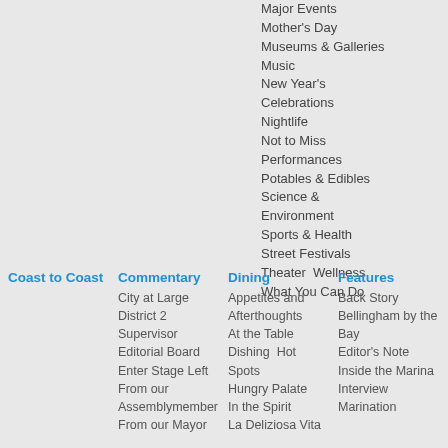Major Events
Mother's Day
Museums & Galleries
Music
New Year's Celebrations
Nightlife
Not to Miss
Performances
Potables & Edibles
Science & Environment
Sports & Health
Street Festivals
Theater  Wellness
What You Can Do
Coast to Coast
Commentary
Dining
Features
City at Large
District 2 Supervisor
Editorial Board
Enter Stage Left
From our Assemblymember
From our Mayor
Appetites and Afterthoughts
At the Table
Dishing  Hot Spots
Hungry Palate
In the Spirit
La Deliziosa Vita
Back Story
Bellingham by the Bay
Editor's Note
Inside the Marina
Interview
Marination